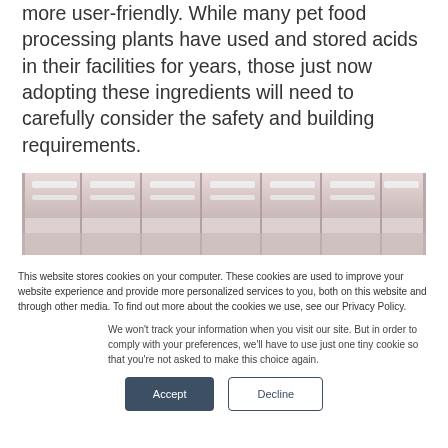more user-friendly. While many pet food processing plants have used and stored acids in their facilities for years, those just now adopting these ingredients will need to carefully consider the safety and building requirements.
[Figure (photo): Interior of a food processing facility showing white walls, ceiling panels with fluorescent lighting, and industrial equipment in a large clean room.]
This website stores cookies on your computer. These cookies are used to improve your website experience and provide more personalized services to you, both on this website and through other media. To find out more about the cookies we use, see our Privacy Policy.
We won't track your information when you visit our site. But in order to comply with your preferences, we'll have to use just one tiny cookie so that you're not asked to make this choice again.